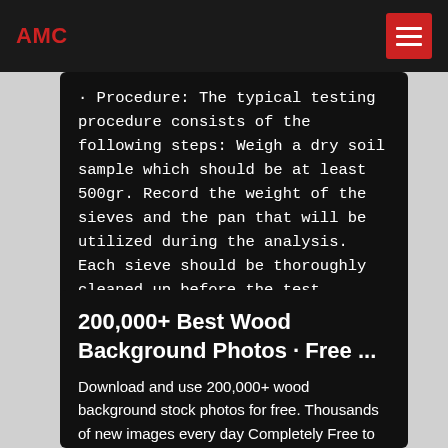AMC
Procedure: The typical testing procedure consists of the following steps: Weigh a dry soil sample which should be at least 500gr. Record the weight of the sieves and the pan that will be utilized during the analysis. Each sieve should be thoroughly cleaned up before the test.
200,000+ Best Wood Background Photos · Free ...
Download and use 200,000+ wood background stock photos for free. Thousands of new images every day Completely Free to Use High-quality videos and images from Pexels